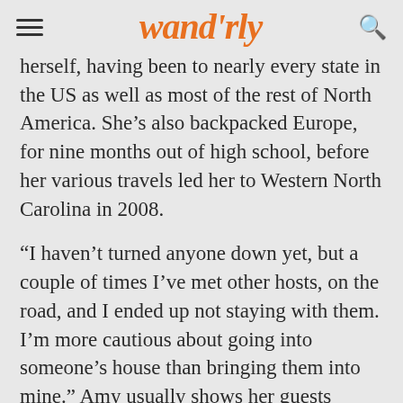wandrly
herself, having been to nearly every state in the US as well as most of the rest of North America. She’s also backpacked Europe, for nine months out of high school, before her various travels led her to Western North Carolina in 2008.
“I haven’t turned anyone down yet, but a couple of times I’ve met other hosts, on the road, and I ended up not staying with them. I’m more cautious about going into someone’s house than bringing them into mine.” Amy usually shows her guests around